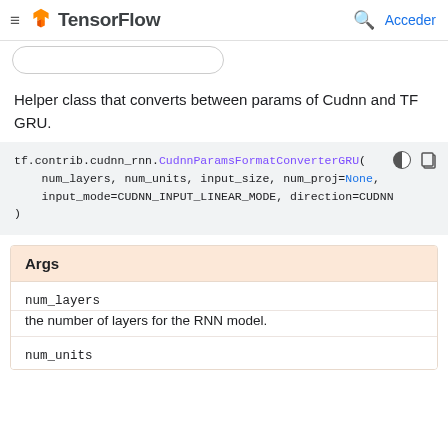TensorFlow — Acceder
Helper class that converts between params of Cudnn and TF GRU.
tf.contrib.cudnn_rnn.CudnnParamsFormatConverterGRU(
    num_layers, num_units, input_size, num_proj=None,
    input_mode=CUDNN_INPUT_LINEAR_MODE, direction=CUDNN...
)
| Args |
| --- |
| num_layers | the number of layers for the RNN model. |
| num_units |  |